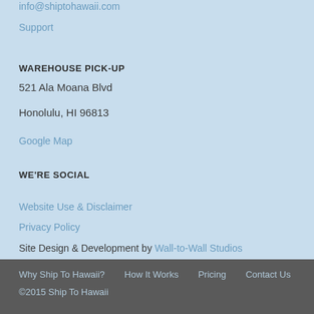info@shiptohawaii.com
Support
WAREHOUSE PICK-UP
521 Ala Moana Blvd
Honolulu, HI 96813
Google Map
WE'RE SOCIAL
Facebook
Twitter
Instagram
Website Use & Disclaimer
Privacy Policy
Site Design & Development by Wall-to-Wall Studios
Why Ship To Hawaii?  How It Works  Pricing  Contact Us  ©2015 Ship To Hawaii